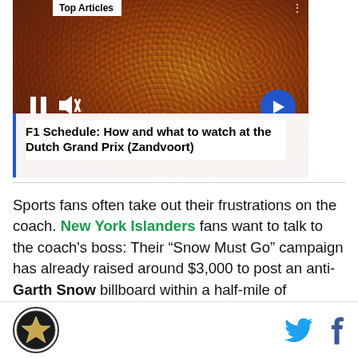[Figure (screenshot): Video player showing crowd scene at Dutch Grand Prix (Zandvoort) with orange crowd and smoke, with Top Articles label, pause button, mute button, and arrow navigation button]
F1 Schedule: How and what to watch at the Dutch Grand Prix (Zandvoort)
Sports fans often take out their frustrations on the coach. New York Islanders fans want to talk to the coach's boss: Their “Snow Must Go” campaign has already raised around $3,000 to post an anti-Garth Snow billboard within a half-mile of Barclays Center.
Logo and social media icons (Twitter, Facebook)